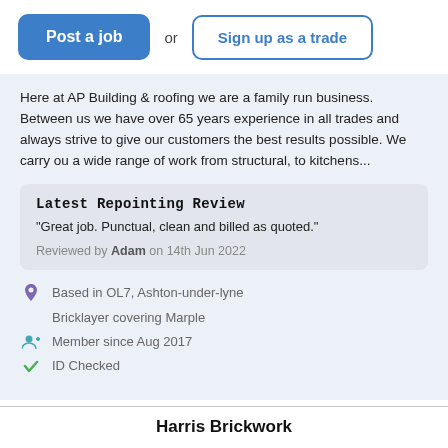Post a job
or
Sign up as a trade
Here at AP Building & roofing we are a family run business. Between us we have over 65 years experience in all trades and always strive to give our customers the best results possible. We carry ou a wide range of work from structural, to kitchens...
Latest Repointing Review
"Great job. Punctual, clean and billed as quoted."
Reviewed by Adam on 14th Jun 2022
Based in OL7, Ashton-under-lyne
Bricklayer covering Marple
Member since Aug 2017
ID Checked
Harris Brickwork